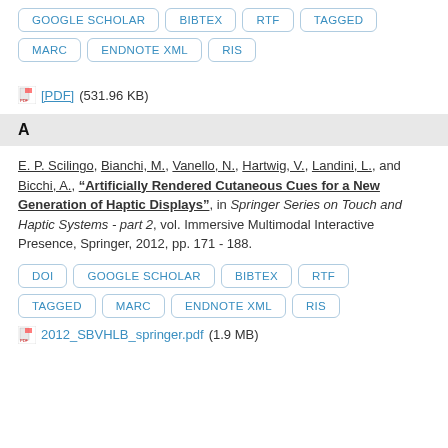GOOGLE SCHOLAR | BIBTEX | RTF | TAGGED | MARC | ENDNOTE XML | RIS
[PDF] (531.96 KB)
A
E. P. Scilingo, Bianchi, M., Vanello, N., Hartwig, V., Landini, L., and Bicchi, A., "Artificially Rendered Cutaneous Cues for a New Generation of Haptic Displays", in Springer Series on Touch and Haptic Systems - part 2, vol. Immersive Multimodal Interactive Presence, Springer, 2012, pp. 171 - 188.
DOI | GOOGLE SCHOLAR | BIBTEX | RTF | TAGGED | MARC | ENDNOTE XML | RIS
2012_SBVHLB_springer.pdf (1.9 MB)